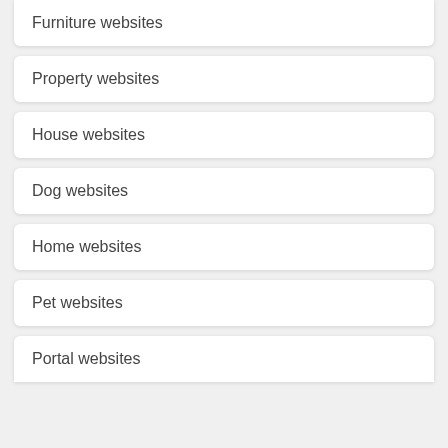Furniture websites
Property websites
House websites
Dog websites
Home websites
Pet websites
Portal websites